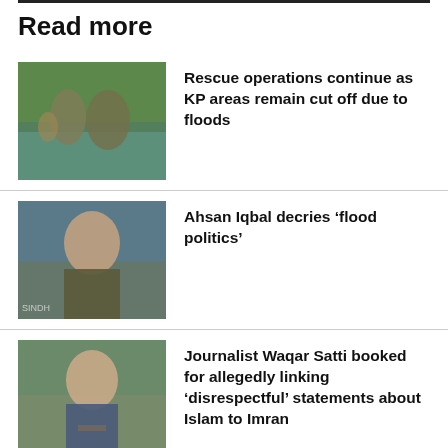Read more
[Figure (photo): People being rescued from flood waters, soldiers helping civilians]
Rescue operations continue as KP areas remain cut off due to floods
[Figure (photo): Ahsan Iqbal, a Pakistani politician, speaking at a press event with SINDH watermark]
Ahsan Iqbal decries ‘flood politics’
[Figure (photo): Journalist Waqar Satti, a man wearing glasses and a suit with tie]
Journalist Waqar Satti booked for allegedly linking ‘disrespectful’ statements about Islam to Imran